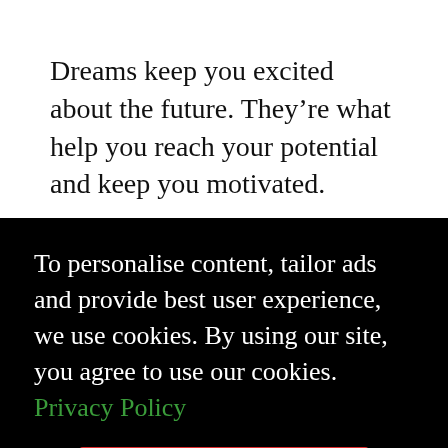Dreams keep you excited about the future. They're what help you reach your potential and keep you motivated.
But you don't want all those goals you've set out to remain some vague ideas. And
To personalise content, tailor ads and provide best user experience, we use cookies. By using our site, you agree to use our cookies. Privacy Policy
Accept & Continue